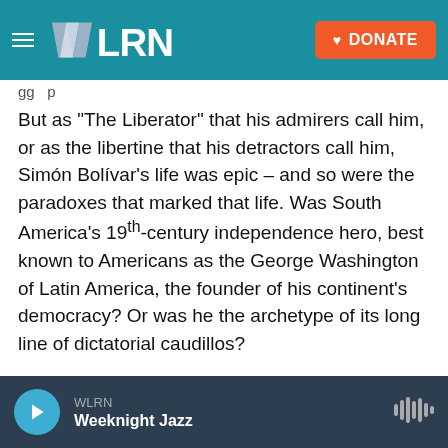WLRN — DONATE
gg p
But as "The Liberator" that his admirers call him, or as the libertine that his detractors call him, Simón Bolívar's life was epic – and so were the paradoxes that marked that life. Was South America's 19th-century independence hero, best known to Americans as the George Washington of Latin America, the founder of his continent's democracy? Or was he the archetype of its long line of dictatorial caudillos?
Bolívar was both – a reality that Marie Arana has powerfully captured in her new biography, Bolívar:
WLRN — Weeknight Jazz